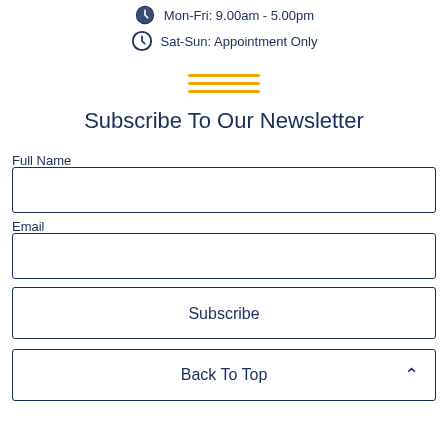Mon-Fri: 9.00am - 5.00pm
Sat-Sun: Appointment Only
[Figure (illustration): Three horizontal orange decorative lines centered on page]
Subscribe To Our Newsletter
Full Name
Email
Subscribe
Back To Top